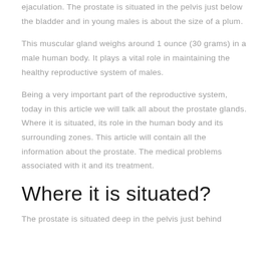ejaculation. The prostate is situated in the pelvis just below the bladder and in young males is about the size of a plum.
This muscular gland weighs around 1 ounce (30 grams) in a male human body. It plays a vital role in maintaining the healthy reproductive system of males.
Being a very important part of the reproductive system, today in this article we will talk all about the prostate glands. Where it is situated, its role in the human body and its surrounding zones. This article will contain all the information about the prostate. The medical problems associated with it and its treatment.
Where it is situated?
The prostate is situated deep in the pelvis just behind